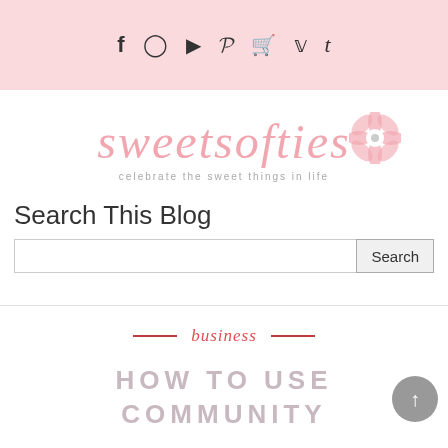f  IG  ▶  P  🛒  🐦  t
[Figure (logo): Sweet Softies blog logo in pink script with a pink flower graphic and tagline 'celebrate the sweet things in life']
Search This Blog
[Search input field] Search
business
HOW TO USE COMMUNITY